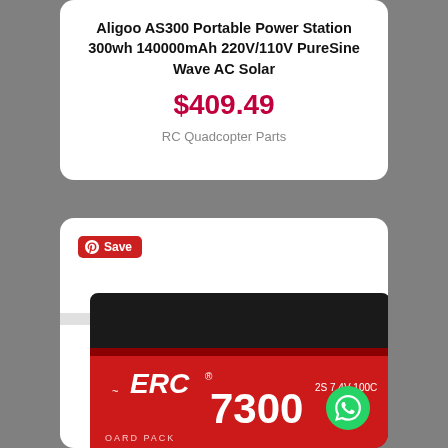Aligoo AS300 Portable Power Station 300wh 140000mAh 220V/110V PureSine Wave AC Solar
$409.49
RC Quadcopter Parts
[Figure (photo): ERC 7300 2S 7.4V 100C LiPo battery pack with red and black casing, connector cable visible at left, partial view cropped at bottom of page]